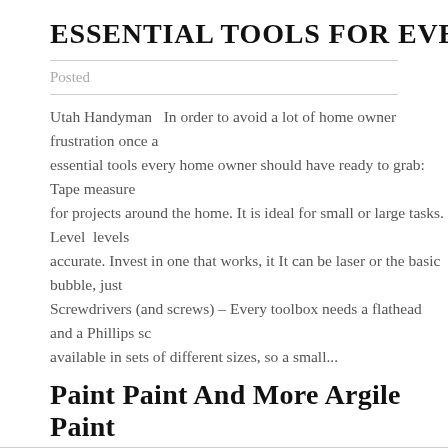ESSENTIAL TOOLS FOR EVERY HOME
Posted
Utah Handyman   In order to avoid a lot of home owner frustration once a essential tools every home owner should have ready to grab:   Tape measure for projects around the home. It is ideal for small or large tasks. Level  levels accurate. Invest in one that works, it It can be laser or the basic bubble, just Screwdrivers (and screws) – Every toolbox needs a flathead and a Phillips sc available in sets of different sizes, so a small...
Paint Paint And More Argile Paint
Posted